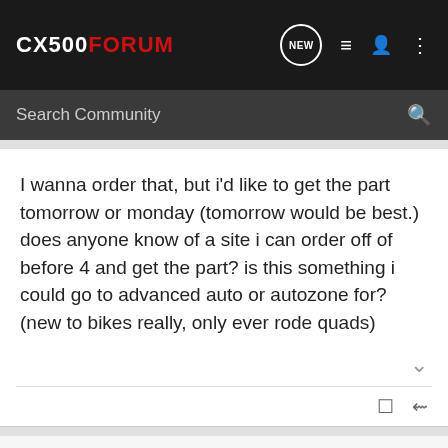CX500FORUM
I wanna order that, but i'd like to get the part tomorrow or monday (tomorrow would be best.) does anyone know of a site i can order off of before 4 and get the part? is this something i could go to advanced auto or autozone for? (new to bikes really, only ever rode quads)
resident13 · Registered
Joined Dec 6, 2010 · 50 Posts